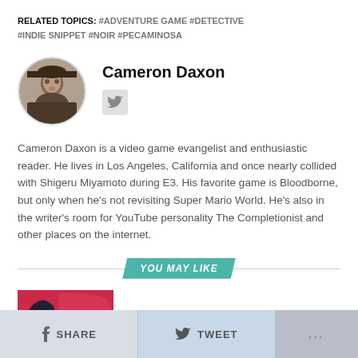RELATED TOPICS: #ADVENTURE GAME #DETECTIVE #INDIE SNIPPET #NOIR #PECAMINOSA
Cameron Daxon
[Figure (photo): Author photo of Cameron Daxon, a circular avatar showing a man in a dark jacket]
Cameron Daxon is a video game evangelist and enthusiastic reader. He lives in Los Angeles, California and once nearly collided with Shigeru Miyamoto during E3. His favorite game is Bloodborne, but only when he's not revisiting Super Mario World. He's also in the writer's room for YouTube personality The Completionist and other places on the internet.
YOU MAY LIKE
[Figure (photo): Red and dark colored game art image for Citizen Sleeper]
Citizen Sleeper is Achingly Human
SHARE  TWEET  ...